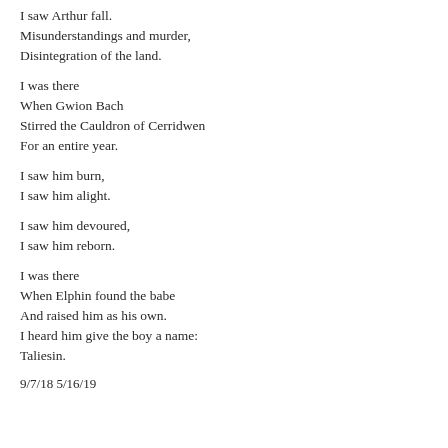I saw Arthur fall.
Misunderstandings and murder,
Disintegration of the land.

I was there
When Gwion Bach
Stirred the Cauldron of Cerridwen
For an entire year.

I saw him burn,
I saw him alight.

I saw him devoured,
I saw him reborn.

I was there
When Elphin found the babe
Andraised him as his own.
I heard him give the boy a name:
Taliesin.
9/7/18 5/16/19